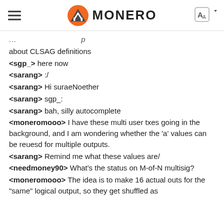MONERO
about CLSAG definitions
<sgp_> here now
<sarang> :/
<sarang> Hi suraeNoether
<sarang> sgp_:
<sarang> bah, silly autocomplete
<moneromooo> I have these multi user txes going in the background, and I am wondering whether the 'a' values can be reuesd for multiple outputs.
<sarang> Remind me what these values are/
<needmoney90> What's the status on M-of-N multisig?
<moneromooo> The idea is to make 16 actual outs for the "same" logical output, so they get shuffled as